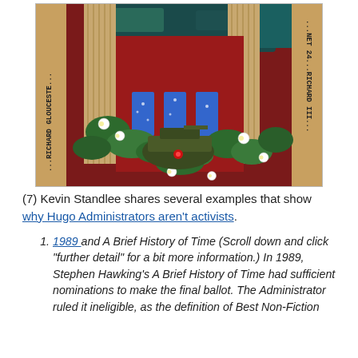[Figure (illustration): Book cover or artistic illustration showing columns, red curtains, a military tank overgrown with green vines and white flowers, against a dark red and teal background. Text along the left border reads '...RICHARD GLOUCESTE...' and along the right border reads '...NET 24...RICHARD III...' in typewriter-style font.]
(7) Kevin Standlee shares several examples that show why Hugo Administrators aren't activists.
1989 and A Brief History of Time (Scroll down and click "further detail" for a bit more information.) In 1989, Stephen Hawking's A Brief History of Time had sufficient nominations to make the final ballot. The Administrator ruled it ineligible, as the definition of Best Non-Fiction